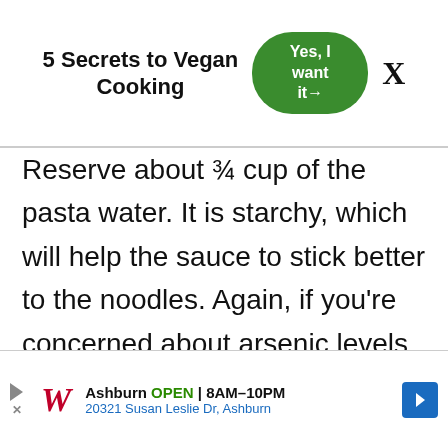5 Secrets to Vegan Cooking  [Yes, I want it→]  X
Reserve about ¾ cup of the pasta water. It is starchy, which will help the sauce to stick better to the noodles. Again, if you're concerned about arsenic levels, you may not want to do this for rice based pastas.
[Figure (other): Walgreens advertisement banner: Ashburn OPEN 8AM–10PM, 20321 Susan Leslie Dr, Ashburn, with Walgreens logo and blue navigation arrow icon]